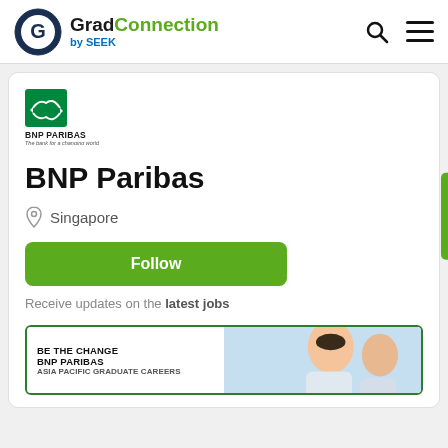[Figure (logo): GradConnection by SEEK logo with circular G icon]
[Figure (logo): BNP Paribas logo - green square with arrows, text BNP PARIBAS The bank for a changing world]
BNP Paribas
Singapore
Follow
Receive updates on the latest jobs
BE THE CHANGE
BNP PARIBAS
ASIA PACIFIC GRADUATE CAREERS